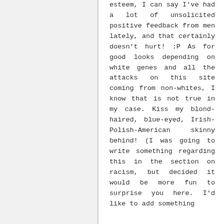esteem, I can say I've had a lot of unsolicited positive feedback from men lately, and that certainly doesn't hurt! :P As for good looks depending on white genes and all the attacks on this site coming from non-whites, I know that is not true in my case. Kiss my blond-haired, blue-eyed, Irish-Polish-American skinny behind! (I was going to write something regarding this in the section on racism, but decided it would be more fun to surprise you here. I'd like to add something